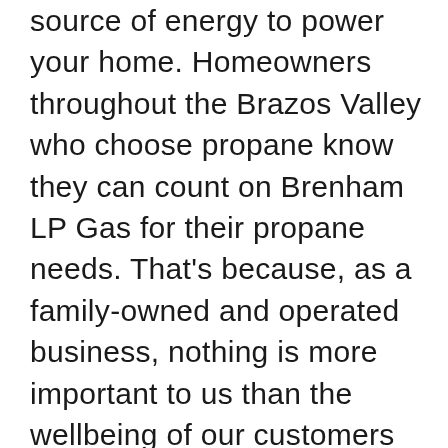source of energy to power your home. Homeowners throughout the Brazos Valley who choose propane know they can count on Brenham LP Gas for their propane needs. That's because, as a family-owned and operated business, nothing is more important to us than the wellbeing of our customers and their families. Leveraging 75 years of experience, we stand ready to serve our customers, from propane system installation and route propane deliveries to maintenance and a range